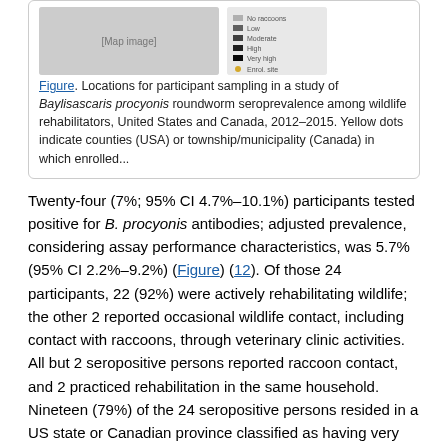[Figure (map): Map showing locations for participant sampling across United States and Canada]
Figure. Locations for participant sampling in a study of Baylisascaris procyonis roundworm seroprevalence among wildlife rehabilitators, United States and Canada, 2012–2015. Yellow dots indicate counties (USA) or township/municipality (Canada) in which enrolled...
Twenty-four (7%; 95% CI 4.7%–10.1%) participants tested positive for B. procyonis antibodies; adjusted prevalence, considering assay performance characteristics, was 5.7% (95% CI 2.2%–9.2%) (Figure) (12). Of those 24 participants, 22 (92%) were actively rehabilitating wildlife; the other 2 reported occasional wildlife contact, including contact with raccoons, through veterinary clinic activities. All but 2 seropositive persons reported raccoon contact, and 2 practiced rehabilitation in the same household. Nineteen (79%) of the 24 seropositive persons resided in a US state or Canadian province classified as having very high or high B. procyonis prevalence